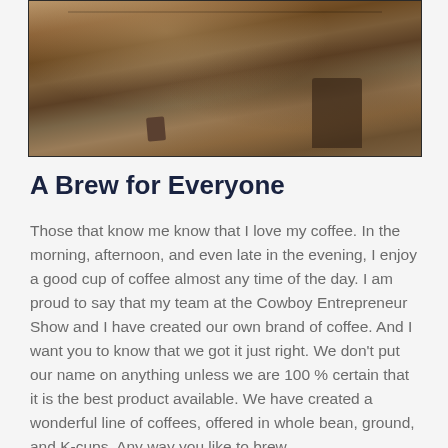[Figure (photo): Partial photo showing what appears to be the ground/soil with dark brown earthy tones, visible at the top of the page.]
A Brew for Everyone
Those that know me know that I love my coffee. In the morning, afternoon, and even late in the evening, I enjoy a good cup of coffee almost any time of the day. I am proud to say that my team at the Cowboy Entrepreneur Show and I have created our own brand of coffee. And I want you to know that we got it just right. We don't put our name on anything unless we are 100 % certain that it is the best product available. We have created a wonderful line of coffees, offered in whole bean, ground, and K-cups. Any way you like to brew